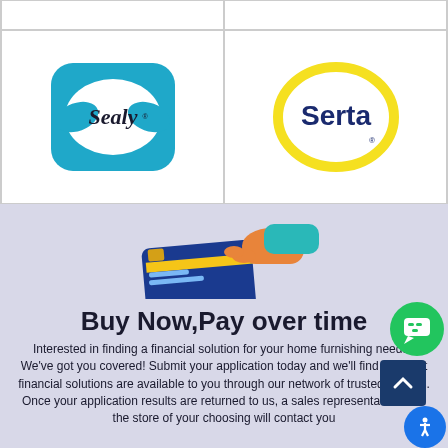[Figure (logo): Sealy mattress brand logo — teal/blue butterfly shape with Sealy script text]
[Figure (logo): Serta mattress brand logo — yellow oval ring with Serta bold text in dark blue]
[Figure (illustration): Illustration of a hand holding a credit card being passed/accepted]
Buy Now,Pay over time
Interested in finding a financial solution for your home furnishing needs? We've got you covered! Submit your application today and we'll find out what financial solutions are available to you through our network of trusted lenders. Once your application results are returned to us, a sales representative from the store of your choosing will contact you